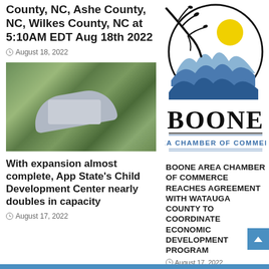County, NC, Ashe County, NC, Wilkes County, NC at 5:10AM EDT Aug 18th 2022
August 18, 2022
[Figure (photo): Aerial view of a building under construction surrounded by trees and green landscape]
With expansion almost complete, App State's Child Development Center nearly doubles in capacity
August 17, 2022
[Figure (logo): Boone Area Chamber of Commerce logo: circular emblem with tree branch, yellow sun, and blue mountain range silhouette, with 'BOONE' in large serif text and 'AREA CHAMBER OF COMMERCE' below]
BOONE AREA CHAMBER OF COMMERCE REACHES AGREEMENT WITH WATAUGA COUNTY TO COORDINATE ECONOMIC DEVELOPMENT PROGRAM
August 17, 2022